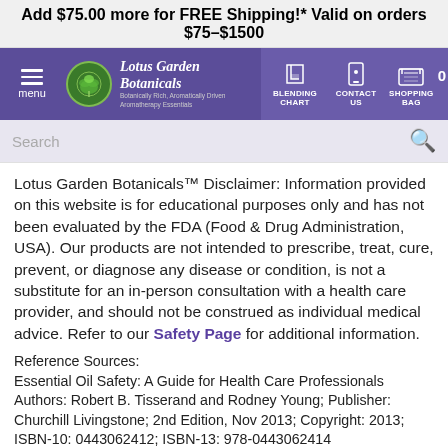Add $75.00 more for FREE Shipping!*
Valid on orders $75–$1500
[Figure (screenshot): Lotus Garden Botanicals website navigation bar with logo, hamburger menu, blending chart, contact us, and shopping bag icons]
[Figure (screenshot): Search bar with search icon]
Lotus Garden Botanicals™ Disclaimer: Information provided on this website is for educational purposes only and has not been evaluated by the FDA (Food & Drug Administration, USA). Our products are not intended to prescribe, treat, cure, prevent, or diagnose any disease or condition, is not a substitute for an in-person consultation with a health care provider, and should not be construed as individual medical advice. Refer to our Safety Page for additional information.
Reference Sources:
Essential Oil Safety: A Guide for Health Care Professionals
Authors: Robert B. Tisserand and Rodney Young; Publisher: Churchill Livingstone; 2nd Edition, Nov 2013; Copyright: 2013;
ISBN-10: 0443062412; ISBN-13: 978-0443062414